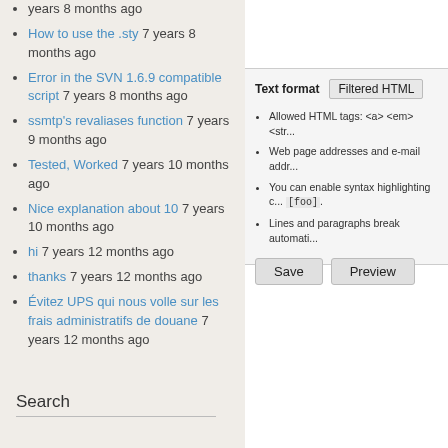years 8 months ago
How to use the .sty 7 years 8 months ago
Error in the SVN 1.6.9 compatible script 7 years 8 months ago
ssmtp's revaliases function 7 years 9 months ago
Tested, Worked 7 years 10 months ago
Nice explanation about 10 7 years 10 months ago
hi 7 years 12 months ago
thanks 7 years 12 months ago
Évitez UPS qui nous volle sur les frais administratifs de douane 7 years 12 months ago
Text format  Filtered HTML
Allowed HTML tags: <a> <em> <str...
Web page addresses and e-mail addr...
You can enable syntax highlighting c... [foo].
Lines and paragraphs break automati...
Save   Preview
Search